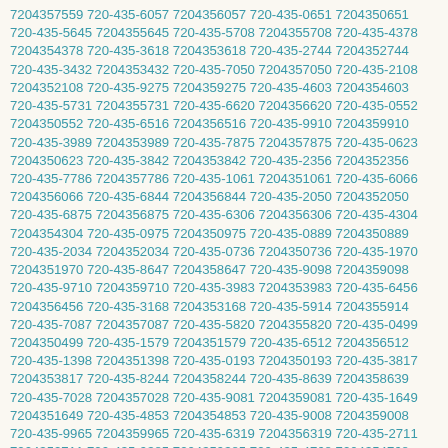7204357559 720-435-6057 7204356057 720-435-0651 7204350651 720-435-5645 7204355645 720-435-5708 7204355708 720-435-4378 7204354378 720-435-3618 7204353618 720-435-2744 7204352744 720-435-3432 7204353432 720-435-7050 7204357050 720-435-2108 7204352108 720-435-9275 7204359275 720-435-4603 7204354603 720-435-5731 7204355731 720-435-6620 7204356620 720-435-0552 7204350552 720-435-6516 7204356516 720-435-9910 7204359910 720-435-3989 7204353989 720-435-7875 7204357875 720-435-0623 7204350623 720-435-3842 7204353842 720-435-2356 7204352356 720-435-7786 7204357786 720-435-1061 7204351061 720-435-6066 7204356066 720-435-6844 7204356844 720-435-2050 7204352050 720-435-6875 7204356875 720-435-6306 7204356306 720-435-4304 7204354304 720-435-0975 7204350975 720-435-0889 7204350889 720-435-2034 7204352034 720-435-0736 7204350736 720-435-1970 7204351970 720-435-8647 7204358647 720-435-9098 7204359098 720-435-9710 7204359710 720-435-3983 7204353983 720-435-6456 7204356456 720-435-3168 7204353168 720-435-5914 7204355914 720-435-7087 7204357087 720-435-5820 7204355820 720-435-0499 7204350499 720-435-1579 7204351579 720-435-6512 7204356512 720-435-1398 7204351398 720-435-0193 7204350193 720-435-3817 7204353817 720-435-8244 7204358244 720-435-8639 7204358639 720-435-7028 7204357028 720-435-9081 7204359081 720-435-1649 7204351649 720-435-4853 7204354853 720-435-9008 7204359008 720-435-9965 7204359965 720-435-6319 7204356319 720-435-2711 7204352711 720-435-9385 7204359385 720-435-4768 7204354768 720-435-0667 7204350667 720-435-9254 7204359254 720-435-3536